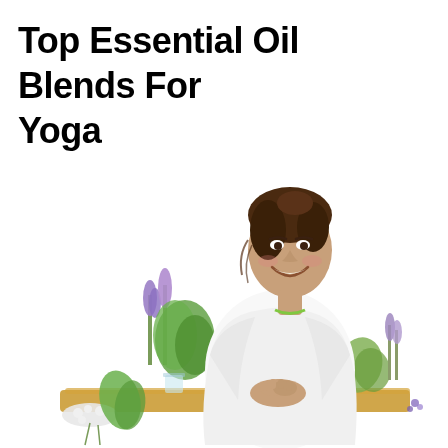Top Essential Oil Blends For Yoga
[Figure (photo): A smiling woman with her hair up, wearing a white shirt and yellow top, leaning forward with her hands clasped together on a wooden board/table. On the table in front of her are various herbs, flowers, essential oil bottles, and glass containers with oils and botanicals — lavender, green herbs, small dark bottles, petri dishes with dried flowers, and glass pitchers with golden oil.]